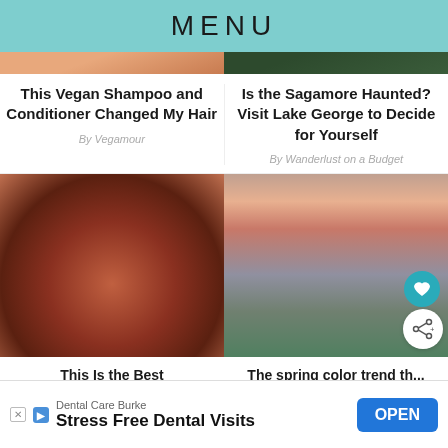MENU
[Figure (photo): Cropped top portion of a photo on left side (warm orange/skin tones)]
[Figure (photo): Cropped top portion of a photo on right side (dark green/outdoor tones)]
This Vegan Shampoo and Conditioner Changed My Hair
By Vegamour
Is the Sagamore Haunted? Visit Lake George to Decide for Yourself
By Wanderlust on a Budget
[Figure (photo): Woman with curly hair, butterfly on face, warm orange/red lighting]
[Figure (photo): Woman in pink top and jeans standing on a deck/patio, outdoor setting]
This Is the Best
The spring color trend th...
Dental Care Burke
Stress Free Dental Visits
OPEN